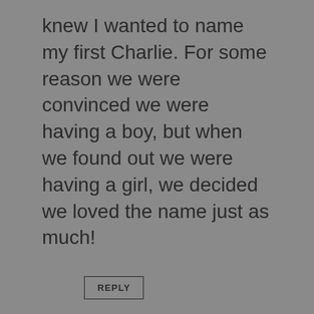knew I wanted to name my first Charlie. For some reason we were convinced we were having a boy, but when we found out we were having a girl, we decided we loved the name just as much!
REPLY
Morgan Jun 9 at 10:23 am
We chose Charlie, short for Charlotte simply because we loved it. We thought Charlotte was very elegant/classic, and it was the first name that we had picked and loved it immediately, so we chose it! We chose Charlie for short because we are fans of the whole “boy name for girls” (like Jo